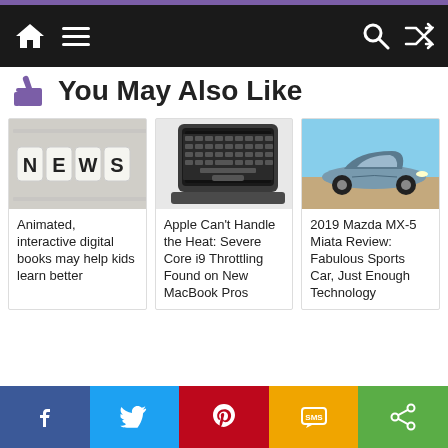Navigation bar with home, menu, search, shuffle icons
You May Also Like
[Figure (photo): NEWS letter blocks on newspaper]
Animated, interactive digital books may help kids learn better
[Figure (photo): Apple MacBook laptop from top view]
Apple Can’t Handle the Heat: Severe Core i9 Throttling Found on New MacBook Pros
[Figure (photo): 2019 Mazda MX-5 Miata silver convertible sports car]
2019 Mazda MX-5 Miata Review: Fabulous Sports Car, Just Enough Technology
Social share bar: Facebook, Twitter, Pinterest, SMS, Share